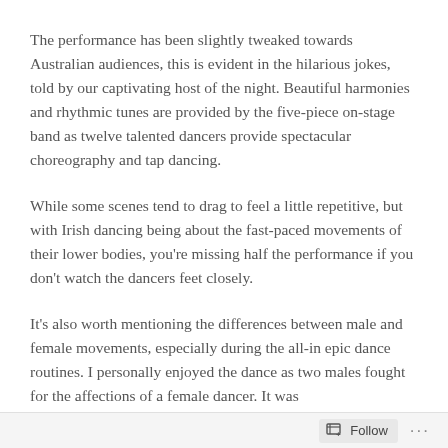The performance has been slightly tweaked towards Australian audiences, this is evident in the hilarious jokes, told by our captivating host of the night. Beautiful harmonies and rhythmic tunes are provided by the five-piece on-stage band as twelve talented dancers provide spectacular choreography and tap dancing.
While some scenes tend to drag to feel a little repetitive, but with Irish dancing being about the fast-paced movements of their lower bodies, you're missing half the performance if you don't watch the dancers feet closely.
It's also worth mentioning the differences between male and female movements, especially during the all-in epic dance routines. I personally enjoyed the dance as two males fought for the affections of a female dancer. It was
Follow ···